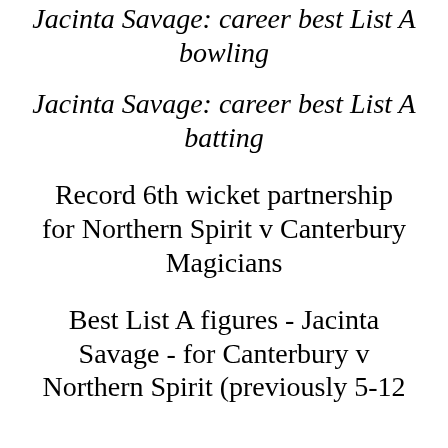Jacinta Savage: career best List A bowling
Jacinta Savage: career best List A batting
Record 6th wicket partnership for Northern Spirit v Canterbury Magicians
Best List A figures - Jacinta Savage - for Canterbury v Northern Spirit (previously 5-12